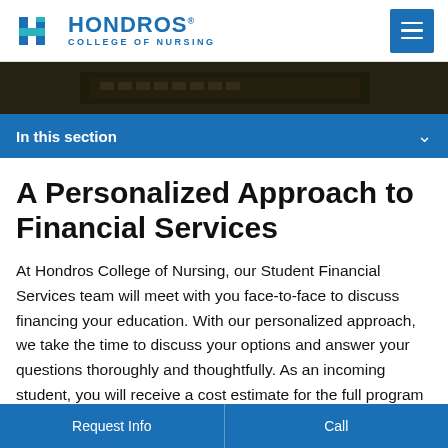Hondros College of Nursing
[Figure (screenshot): Dark background hero banner image showing hands on a laptop keyboard]
In this section
A Personalized Approach to Financial Services
At Hondros College of Nursing, our Student Financial Services team will meet with you face-to-face to discuss financing your education. With our personalized approach, we take the time to discuss your options and answer your questions thoroughly and thoughtfully. As an incoming student, you will receive a cost estimate for the full program—not just the first term—so you'll know what to
Request Info | Call